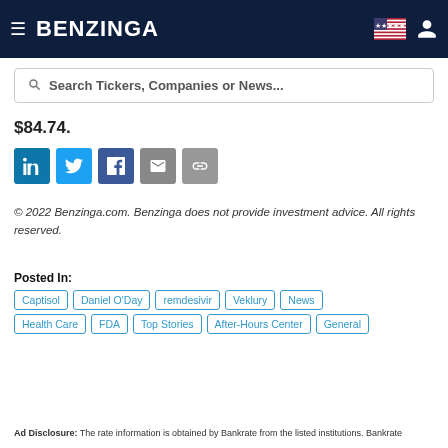BENZINGA
$84.74.
[Figure (other): Social share buttons: LinkedIn, Twitter, Facebook, Email, Link]
© 2022 Benzinga.com. Benzinga does not provide investment advice. All rights reserved.
Posted In: Captisol, Daniel O'Day, remdesivir, Veklury, News, Health Care, FDA, Top Stories, After-Hours Center, General
Ad Disclosure: The rate information is obtained by Bankrate from the listed institutions. Bankrate